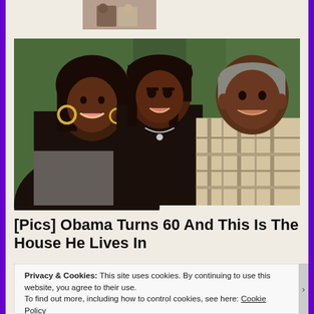[Figure (photo): Small thumbnail image of a couple sitting together, partially visible at top of page]
[Figure (photo): Family photo of Michelle Obama, Sasha Obama, and Barack Obama smiling together outdoors. Michelle wears a black outfit with hoop earrings, Sasha wears a black tank top with a necklace, Barack wears a plaid shirt.]
[Pics] Obama Turns 60 And This Is The House He Lives In
Privacy & Cookies: This site uses cookies. By continuing to use this website, you agree to their use.
To find out more, including how to control cookies, see here: Cookie Policy
Close and accept